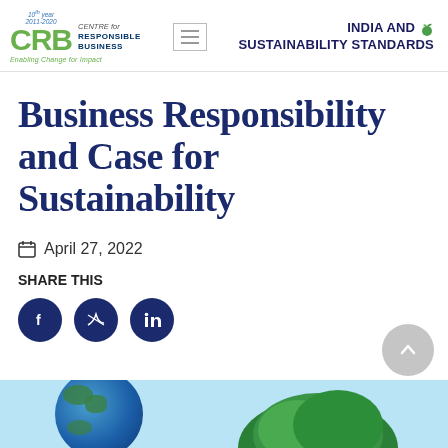[Figure (logo): CRB - Centre for Responsible Business logo with 10 year 2011-2020 badge, green CRB letters, tagline Enabling Change for Impact]
[Figure (logo): India and Sustainability Standards logo with leaf icon]
Business Responsibility and Case for Sustainability
April 27, 2022
SHARE THIS
[Figure (infographic): Social share buttons: Facebook, Twitter, LinkedIn circular dark navy icons]
[Figure (photo): Bottom banner showing earth globe and green trees on light blue background]